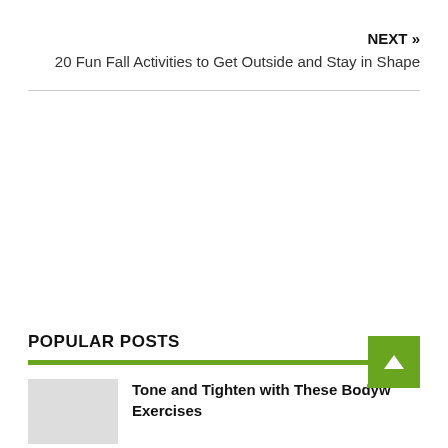NEXT »
20 Fun Fall Activities to Get Outside and Stay in Shape
POPULAR POSTS
Tone and Tighten with These Bodyw… Exercises